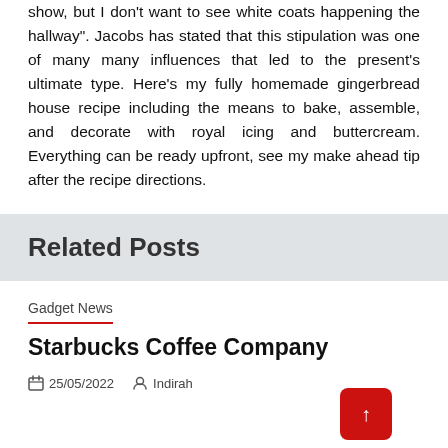show, but I don't want to see white coats happening the hallway". Jacobs has stated that this stipulation was one of many many influences that led to the present's ultimate type. Here's my fully homemade gingerbread house recipe including the means to bake, assemble, and decorate with royal icing and buttercream. Everything can be ready upfront, see my make ahead tip after the recipe directions.
Related Posts
Gadget News
Starbucks Coffee Company
25/05/2022   Indirah